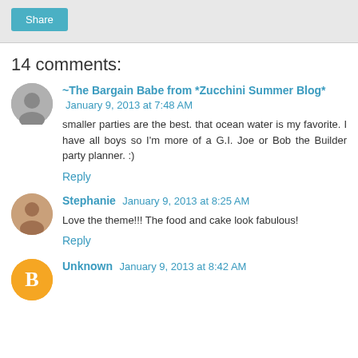Share
14 comments:
~The Bargain Babe from *Zucchini Summer Blog*  January 9, 2013 at 7:48 AM
smaller parties are the best. that ocean water is my favorite. I have all boys so I'm more of a G.I. Joe or Bob the Builder party planner. :)
Reply
Stephanie  January 9, 2013 at 8:25 AM
Love the theme!!! The food and cake look fabulous!
Reply
Unknown  January 9, 2013 at 8:42 AM